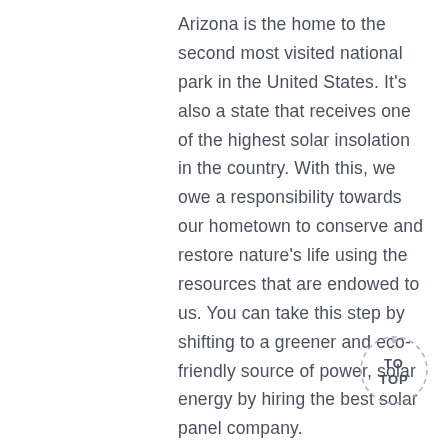Arizona is the home to the second most visited national park in the United States. It's also a state that receives one of the highest solar insolation in the country. With this, we owe a responsibility towards our hometown to conserve and restore nature's life using the resources that are endowed to us. You can take this step by shifting to a greener and eco-friendly source of power, solar energy by hiring the best solar panel company.

If you are looking to go solar in Phoenix, you might get confused amidst so many competitors in the Arizona market. This is why we'll help you in finding answers to the most relevant questions. We'll also delve
[Figure (other): Dashed circular 'TO TOP' back-to-top button in the bottom-right corner]